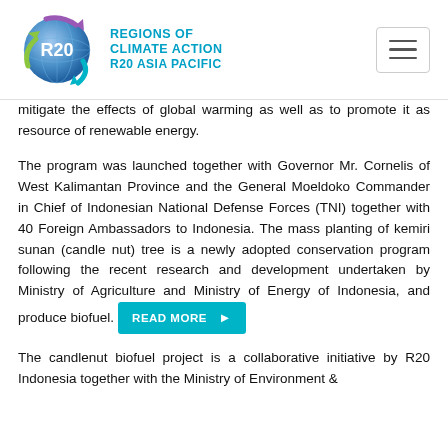REGIONS OF CLIMATE ACTION R20 ASIA PACIFIC
mitigate the effects of global warming as well as to promote it as resource of renewable energy.
The program was launched together with Governor Mr. Cornelis of West Kalimantan Province and the General Moeldoko Commander in Chief of Indonesian National Defense Forces (TNI) together with 40 Foreign Ambassadors to Indonesia. The mass planting of kemiri sunan (candle nut) tree is a newly adopted conservation program following the recent research and development undertaken by Ministry of Agriculture and Ministry of Energy of Indonesia, and produce biofuel. READ MORE
The candlenut biofuel project is a collaborative initiative by R20 Indonesia together with the Ministry of Environment &